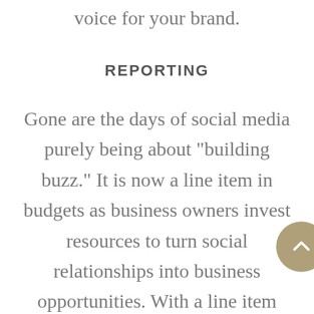voice for your brand.
REPORTING
Gone are the days of social media purely being about “building buzz.” It is now a line item in budgets as business owners invest resources to turn social relationships into business opportunities. With a line item comes the need to